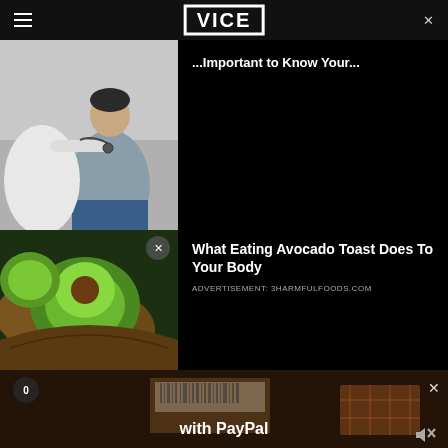VICE
[Figure (photo): Doctor in white coat examining a patient with a stethoscope, patient seated wearing a grey sweater and jeans. Advertisement for AARP with headline partially cut off: '...Important to Know Your...']
Important to Know Your...
ADVERTISEMENT: AARP
[Figure (photo): Close-up photo of avocado toast - sliced avocados on bread. Advertisement for 3HARMFULFOODS.COM with headline 'What Eating Avocado Toast Does To Your Body']
What Eating Avocado Toast Does To Your Body
ADVERTISEMENT: 3HARMFULFOODS.COM
[Figure (photo): Video advertisement thumbnail showing a package/shipping box with barcode, wooden crate in background, warm brown tones. Text reads 'with PayPal'. Has a counter showing 0, close button, and mute icon.]
with PayPal